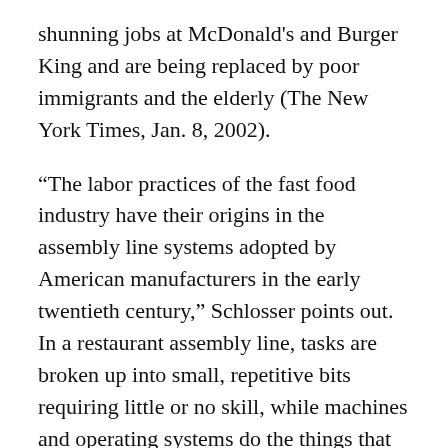shunning jobs at McDonald's and Burger King and are being replaced by poor immigrants and the elderly (The New York Times, Jan. 8, 2002).
“The labor practices of the fast food industry have their origins in the assembly line systems adopted by American manufacturers in the early twentieth century,” Schlosser points out. In a restaurant assembly line, tasks are broken up into small, repetitive bits requiring little or no skill, while machines and operating systems do the things that require timing and training.
In addition, the fast food industry more closely...